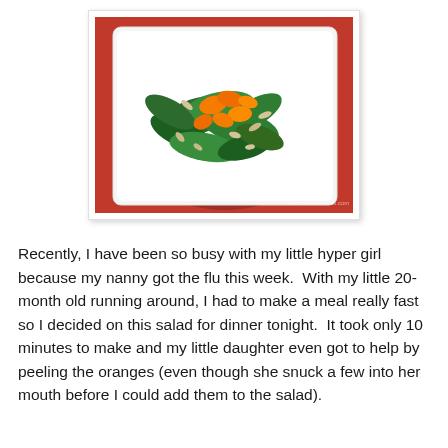[Figure (photo): A white square plate with a green spinach salad topped with mandarin orange segments and sunflower seeds, set on a red tablecloth background.]
Recently, I have been so busy with my little hyper girl because my nanny got the flu this week.  With my little 20-month old running around, I had to make a meal really fast so I decided on this salad for dinner tonight.  It took only 10 minutes to make and my little daughter even got to help by peeling the oranges (even though she snuck a few into her mouth before I could add them to the salad).